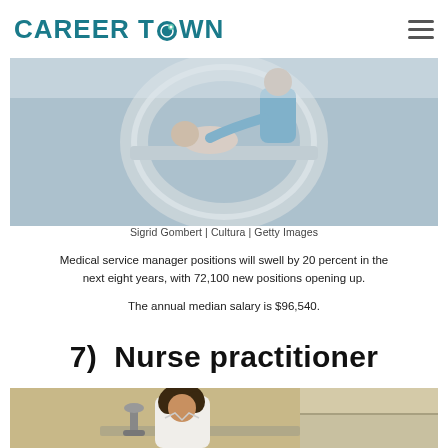CAREER TOWN
[Figure (photo): Medical technician helping a patient into an MRI or CT scanner machine, viewed from above. A person in a blue top assists a patient lying on the scanner table.]
Sigrid Gombert | Cultura | Getty Images
Medical service manager positions will swell by 20 percent in the next eight years, with 72,100 new positions opening up.
The annual median salary is $96,540.
7)  Nurse practitioner
[Figure (photo): A female nurse practitioner or lab professional with curly hair wearing a white coat, working at a laboratory bench with microscope equipment in a medical or clinical setting.]